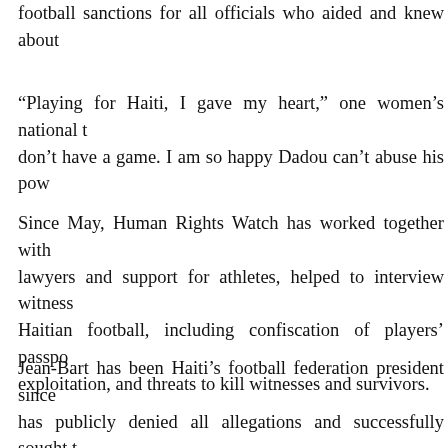football sanctions for all officials who aided and knew about
“Playing for Haiti, I gave my heart,” one women’s national t… don’t have a game. I am so happy Dadou can’t abuse his pow…
Since May, Human Rights Watch has worked together with lawyers and support for athletes, helped to interview witness… Haitian football, including confiscation of players’ passpo… exploitation, and threats to kill witnesses and survivors.
Jean-Bart has been Haiti’s football federation president since… has publicly denied all allegations and successfully sought t… and exonerate him. That a judge made this pronouncement th…